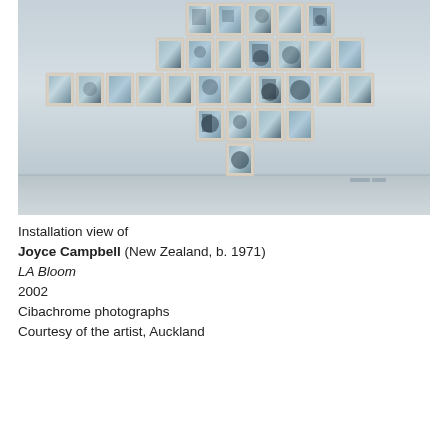[Figure (photo): Installation view of a gallery wall showing approximately 24 framed Cibachrome photographs arranged in a cross/diamond pattern. The frames are light wood/white, and the photographs appear to show organic, mottled blue-green and dark imagery. The gallery has a light gray wall and wooden floor.]
Installation view of
Joyce Campbell (New Zealand, b. 1971)
LA Bloom
2002
Cibachrome photographs
Courtesy of the artist, Auckland